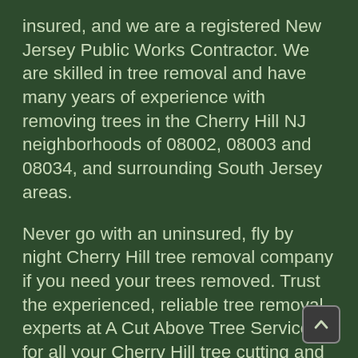insured, and we are a registered New Jersey Public Works Contractor. We are skilled in tree removal and have many years of experience with removing trees in the Cherry Hill NJ neighborhoods of 08002, 08003 and 08034, and surrounding South Jersey areas.
Never go with an uninsured, fly by night Cherry Hill tree removal company if you need your trees removed. Trust the experienced, reliable tree removal experts at A Cut Above Tree Service for all your Cherry Hill tree cutting and removal services.